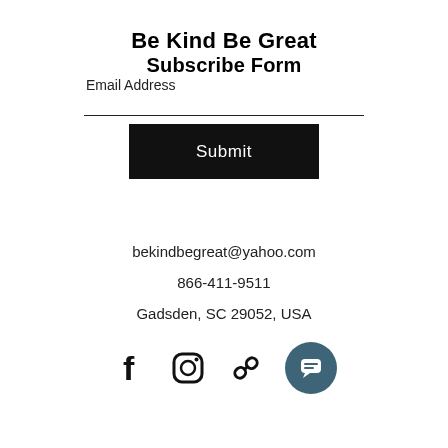Be Kind Be Great
Subscribe Form
Email Address
Submit
bekindbegreat@yahoo.com
866-411-9511
Gadsden, SC 29052, USA
[Figure (infographic): Social media icons: Facebook, Instagram, link/chain icon, and a teal chat bubble button]